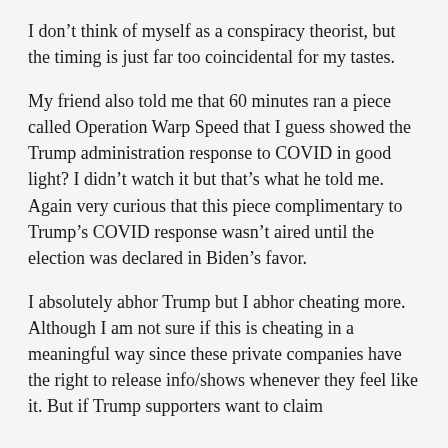I don't think of myself as a conspiracy theorist, but the timing is just far too coincidental for my tastes.
My friend also told me that 60 minutes ran a piece called Operation Warp Speed that I guess showed the Trump administration response to COVID in good light? I didn't watch it but that's what he told me. Again very curious that this piece complimentary to Trump's COVID response wasn't aired until the election was declared in Biden's favor.
I absolutely abhor Trump but I abhor cheating more. Although I am not sure if this is cheating in a meaningful way since these private companies have the right to release info/shows whenever they feel like it. But if Trump supporters want to claim